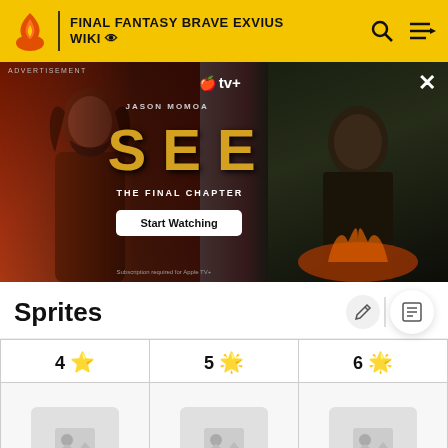FINAL FANTASY BRAVE EXVIUS WIKI
[Figure (screenshot): Apple TV+ advertisement banner for 'SEE: The Final Chapter' starring Jason Momoa with a Start Watching button]
Sprites
| 4 ★ | 5 ★ | 6 ★ |
| --- | --- | --- |
| [sprite image] | [sprite image] | [sprite image] |